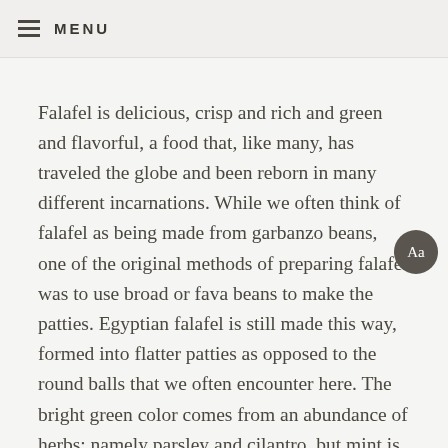MENU
Falafel is delicious, crisp and rich and green and flavorful, a food that, like many, has traveled the globe and been reborn in many different incarnations. While we often think of falafel as being made from garbanzo beans, one of the original methods of preparing falafel was to use broad or fava beans to make the patties. Egyptian falafel is still made this way, formed into flatter patties as opposed to the round balls that we often encounter here. The bright green color comes from an abundance of herbs; namely parsley and cilantro, but mint is sometimes included, too. The dry beans are sold whole or split; use split beans if you can